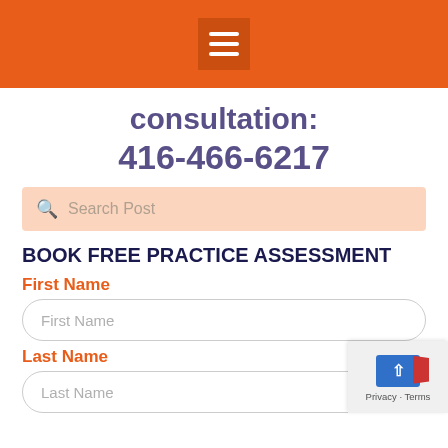consultation:
416-466-6217
[Figure (screenshot): Search bar with peach/salmon background and magnifying glass icon, placeholder text 'Search Post']
BOOK FREE PRACTICE ASSESSMENT
First Name
First Name (input field placeholder)
Last Name
Last Name (input field placeholder)